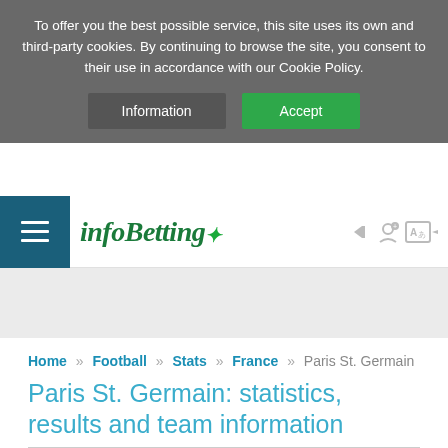To offer you the best possible service, this site uses its own and third-party cookies. By continuing to browse the site, you consent to their use in accordance with our Cookie Policy.
Information
Accept
[Figure (logo): infoBetting website logo with italic green text and star]
Home » Football » Stats » France » Paris St. Germain
Paris St. Germain: statistics, results and team information
[Figure (logo): Paris Saint-Germain FC circular badge with Paris Eiffel Tower in red on blue background]